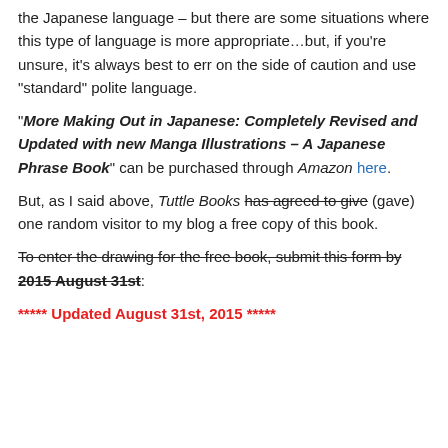the Japanese language – but there are some situations where this type of language is more appropriate…but, if you're unsure, it's always best to err on the side of caution and use "standard" polite language.
"More Making Out in Japanese: Completely Revised and Updated with new Manga Illustrations – A Japanese Phrase Book" can be purchased through Amazon here.
But, as I said above, Tuttle Books has agreed to give (gave) one random visitor to my blog a free copy of this book.
To enter the drawing for the free book, submit this form by 2015 August 31st:
***** Updated August 31st, 2015 *****